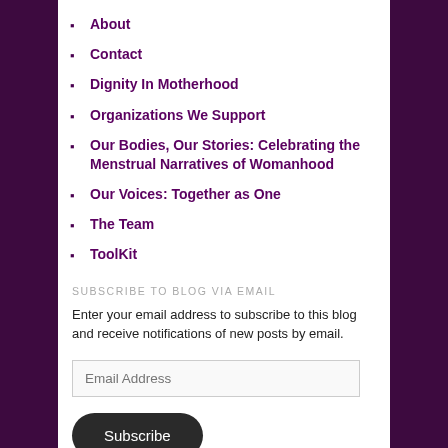About
Contact
Dignity In Motherhood
Organizations We Support
Our Bodies, Our Stories: Celebrating the Menstrual Narratives of Womanhood
Our Voices: Together as One
The Team
ToolKit
SUBSCRIBE TO BLOG VIA EMAIL
Enter your email address to subscribe to this blog and receive notifications of new posts by email.
Email Address
Subscribe
Join 1,346 other followers